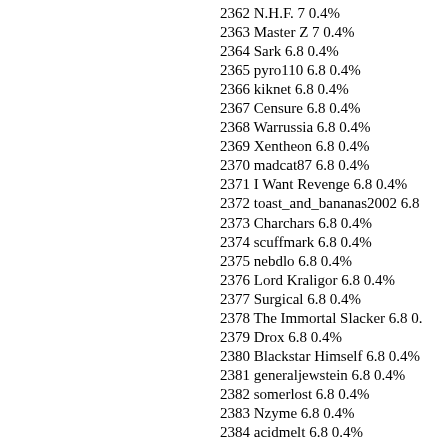2362 N.H.F. 7 0.4%
2363 Master Z 7 0.4%
2364 Sark 6.8 0.4%
2365 pyro110 6.8 0.4%
2366 kiknet 6.8 0.4%
2367 Censure 6.8 0.4%
2368 Warrussia 6.8 0.4%
2369 Xentheon 6.8 0.4%
2370 madcat87 6.8 0.4%
2371 I Want Revenge 6.8 0.4%
2372 toast_and_bananas2002 6.8...
2373 Charchars 6.8 0.4%
2374 scuffmark 6.8 0.4%
2375 nebdlo 6.8 0.4%
2376 Lord Kraligor 6.8 0.4%
2377 Surgical 6.8 0.4%
2378 The Immortal Slacker 6.8 0...
2379 Drox 6.8 0.4%
2380 Blackstar Himself 6.8 0.4%
2381 generaljewstein 6.8 0.4%
2382 somerlost 6.8 0.4%
2383 Nzyme 6.8 0.4%
2384 acidmelt 6.8 0.4%